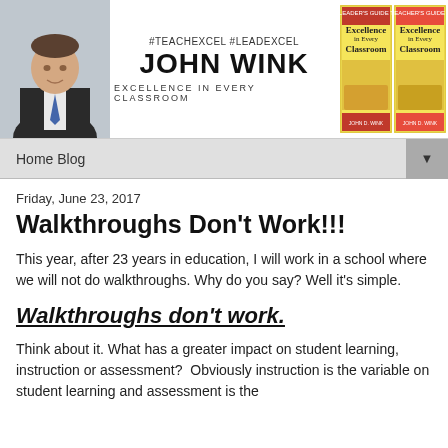[Figure (other): John Wink blog header banner with photo of man in suit, hashtags #TEACHEXCEL #LEADEXCEL, name JOHN WINK, tagline EXCELLENCE IN EVERY CLASSROOM, and two book covers for 'Excellence in Every Classroom']
Home Blog
Friday, June 23, 2017
Walkthroughs Don't Work!!!
This year, after 23 years in education, I will work in a school where we will not do walkthroughs. Why do you say? Well it's simple.
Walkthroughs don't work.
Think about it. What has a greater impact on student learning, instruction or assessment?  Obviously instruction is the variable on student learning and assessment is the